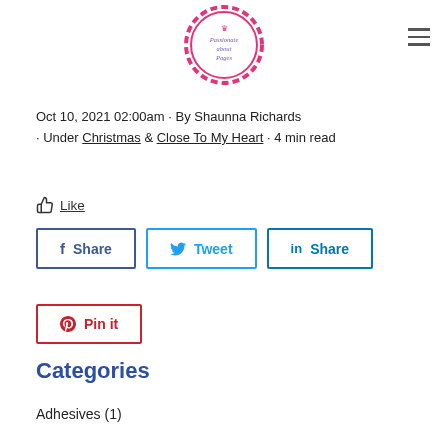Passionate About Pages logo
Oct 10, 2021 02:00am · By Shaunna Richards · Under Christmas & Close To My Heart · 4 min read
👍 Like
f Share | Tweet | in Share | Pin it
Categories
Adhesives (1)